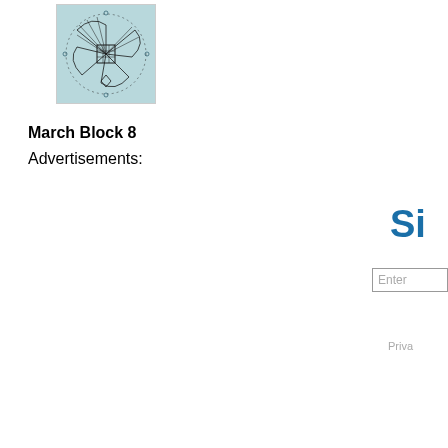[Figure (illustration): A decorative needlework or embroidery pattern block on a light blue/teal background, showing floral and geometric designs in black line art, framed with a thin border.]
March Block 8
Advertisements:
Si
Enter
Priva